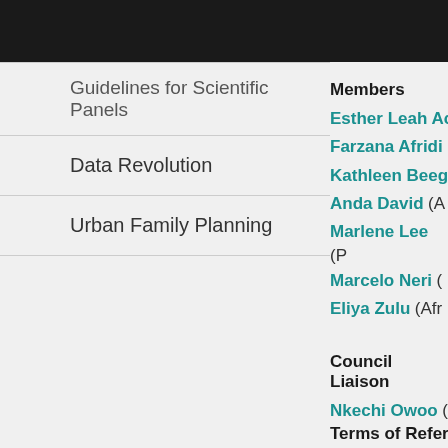Guidelines for Scientific Panels
Data Revolution
Urban Family Planning
Members
Esther Leah Ac
Farzana Afridi
Kathleen Beegl
Anda David (A
Marlene Lee (P
Marcelo Neri (
Eliya Zulu (Afr
Council Liaison
Nkechi Owoo (
IUSSP Secreta
Paul Monet (In
Terms of Refer